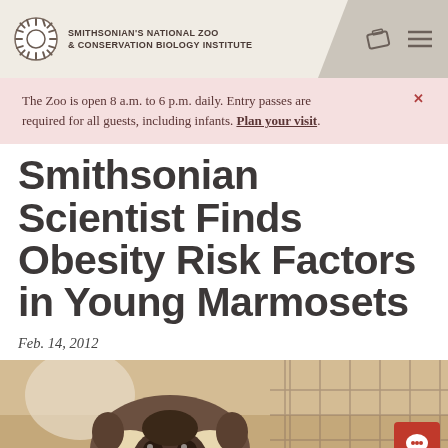SMITHSONIAN'S NATIONAL ZOO & CONSERVATION BIOLOGY INSTITUTE
The Zoo is open 8 a.m. to 6 p.m. daily. Entry passes are required for all guests, including infants. Plan your visit.
Smithsonian Scientist Finds Obesity Risk Factors in Young Marmosets
Feb. 14, 2012
[Figure (photo): Close-up photograph of a marmoset animal face, warm brown and cream tones]